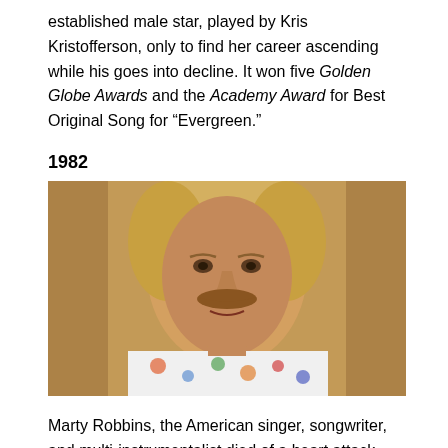established male star, played by Kris Kristofferson, only to find her career ascending while his goes into decline. It won five Golden Globe Awards and the Academy Award for Best Original Song for “Evergreen.”
1982
[Figure (photo): Portrait photo of Marty Robbins, a man with blonde hair and a mustache wearing a white floral shirt]
Marty Robbins, the American singer, songwriter, and multi-instrumentalist died of a heart attack. One of the most popular and successful country and Western singers of his era, Robbins released over 50 singles and 100 albums. In addition to his recordings, Robbins was an avid race car